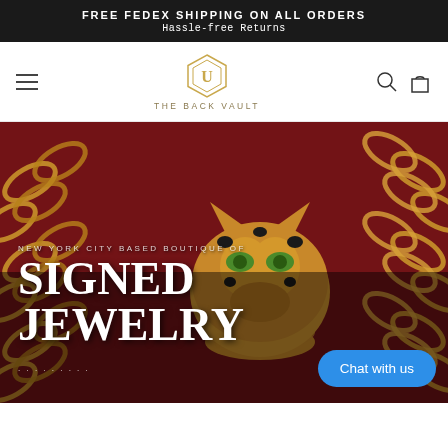FREE FEDEX SHIPPING ON ALL ORDERS
Hassle-free Returns
[Figure (logo): The Back Vault logo — hexagonal geometric icon with letter U inside, with text 'THE BACK VAULT' below]
[Figure (photo): Close-up photo of gold chain links on dark red/burgundy velvet background, with a gold panther/leopard ring featuring green gemstone eyes and black enamel spots in the center. Overlaid with hero text 'NEW YORK CITY BASED BOUTIQUE OF SIGNED JEWELRY'.]
SIGNED JEWELRY
NEW YORK CITY BASED BOUTIQUE OF
Chat with us